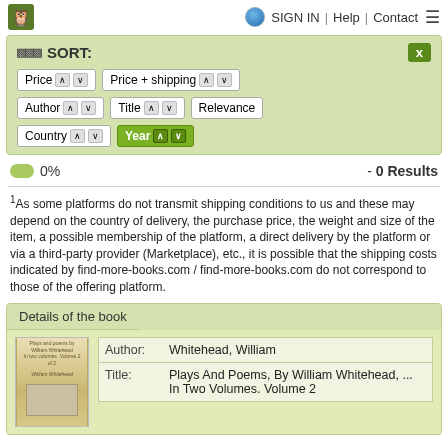SIGN IN | Help | Contact
SORT:
Price  Price + shipping  Author  Title  Relevance  Country  Year
0%  - 0 Results
1As some platforms do not transmit shipping conditions to us and these may depend on the country of delivery, the purchase price, the weight and size of the item, a possible membership of the platform, a direct delivery by the platform or via a third-party provider (Marketplace), etc., it is possible that the shipping costs indicated by find-more-books.com / find-more-books.com do not correspond to those of the offering platform.
Details of the book
| Label | Value |
| --- | --- |
| Author: | Whitehead, William |
| Title: | Plays And Poems, By William Whitehead, ... In Two Volumes. Volume 2 |